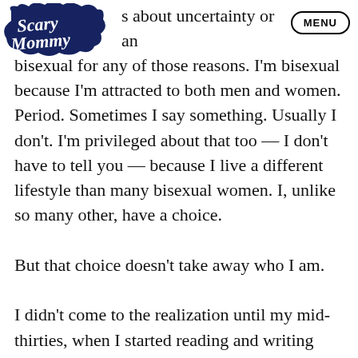[Figure (logo): Scary Mommy logo — dark navy blue cloud-like badge shape with cursive white text reading 'Scary Mommy']
MENU
s about uncertainty or an drive. Wrong, wrong, wrong. I'm bisexual for any of those reasons. I'm bisexual because I'm attracted to both men and women. Period. Sometimes I say something. Usually I don't. I'm privileged about that too — I don't have to tell you — because I live a different lifestyle than many bisexual women. I, unlike so many other, have a choice.

But that choice doesn't take away who I am.

I didn't come to the realization until my mid-thirties, when I started reading and writing